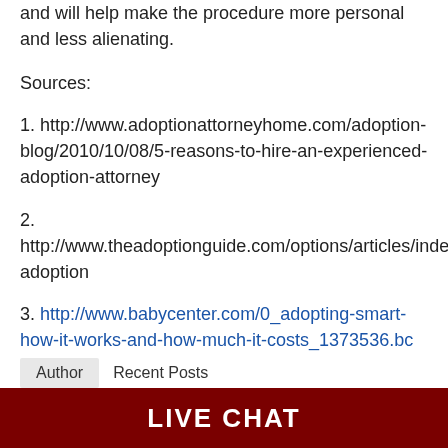and will help make the procedure more personal and less alienating.
Sources:
1. http://www.adoptionattorneyhome.com/adoption-blog/2010/10/08/5-reasons-to-hire-an-experienced-adoption-attorney
2. http://www.theadoptionguide.com/options/articles/independent-adoption
3. http://www.babycenter.com/0_adopting-smart-how-it-works-and-how-much-it-costs_1373536.bc
Author    Recent Posts
LIVE CHAT